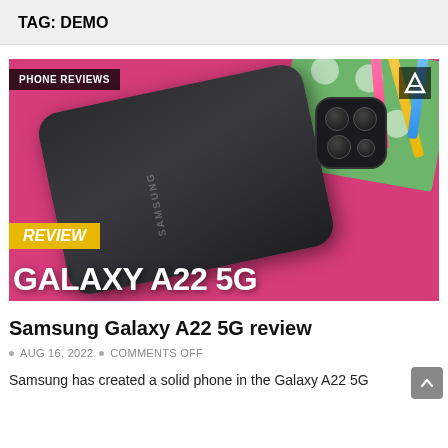TAG: DEMO
[Figure (photo): Samsung Galaxy A22 5G review thumbnail showing the phone's back lying on a colorful polka-dot background, with 'PHONE REVIEWS' badge, a logo 'A', 'REVIEW' yellow badge, and 'GALAXY A22 5G' text overlay]
Samsung Galaxy A22 5G review
AUG 16, 2022  •  COMMENTS OFF
Samsung has created a solid phone in the Galaxy A22 5G